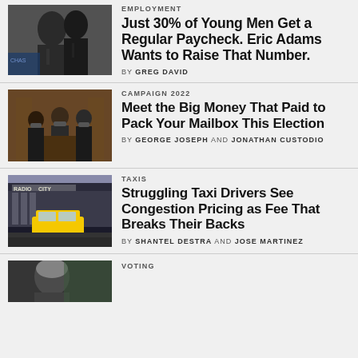[Figure (photo): Two young Black men in suits, outdoors, appears to be a city setting]
EMPLOYMENT
Just 30% of Young Men Get a Regular Paycheck. Eric Adams Wants to Raise That Number.
BY GREG DAVID
[Figure (photo): Three men at a podium in an official chamber setting, wearing masks]
CAMPAIGN 2022
Meet the Big Money That Paid to Pack Your Mailbox This Election
BY GEORGE JOSEPH AND JONATHAN CUSTODIO
[Figure (photo): Yellow taxi in front of Radio City Music Hall]
TAXIS
Struggling Taxi Drivers See Congestion Pricing as Fee That Breaks Their Backs
BY SHANTEL DESTRA AND JOSE MARTINEZ
[Figure (photo): Person outdoors, partial image visible at bottom]
VOTING